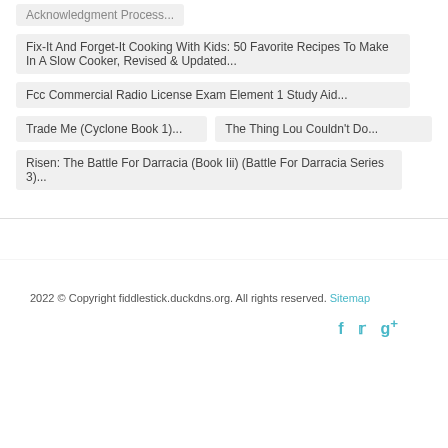Acknowledgment Process...
Fix-It And Forget-It Cooking With Kids: 50 Favorite Recipes To Make In A Slow Cooker, Revised & Updated...
Fcc Commercial Radio License Exam Element 1 Study Aid...
Trade Me (Cyclone Book 1)...
The Thing Lou Couldn't Do...
Risen: The Battle For Darracia (Book Iii) (Battle For Darracia Series 3)...
2022 © Copyright fiddlestick.duckdns.org. All rights reserved. Sitemap